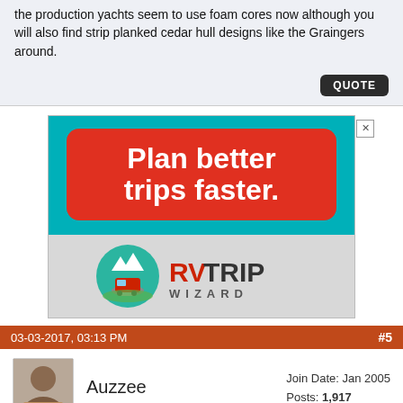the production yachts seem to use foam cores now although you will also find strip planked cedar hull designs like the Graingers around.
[Figure (illustration): Advertisement for RVTrip Wizard. Teal background with a red rounded rectangle containing white bold text 'Plan better trips faster.' Below, a grey section shows the RVTrip Wizard logo: a circular icon with an RV/bus on a road with mountains, and the text 'RVTRIP WIZARD' in large letters.]
03-03-2017, 03:13 PM
#5
Auzzee
Join Date: Jan 2005
Posts: 1,917